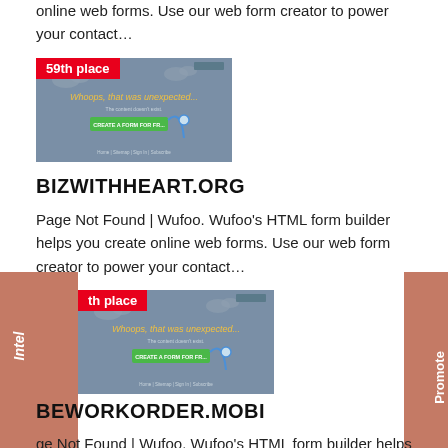online web forms. Use our web form creator to power your contact…
[Figure (screenshot): Screenshot of a Wufoo 404 page showing 'Whoops, that was unexpected... The content doesn't exist. CREATE A FORM FOR FREE' with navigation links at the bottom. Badge shows '59th place' in red.]
BIZWITHHEART.ORG
Page Not Found | Wufoo. Wufoo's HTML form builder helps you create online web forms. Use our web form creator to power your contact…
[Figure (screenshot): Screenshot of a Wufoo 404 page showing 'Whoops, that was unexpected... The content doesn't exist. CREATE A FORM FOR FREE' with navigation links at the bottom. Badge shows 'th place' in red.]
BEWORKORDER.MOBI
ge Not Found | Wufoo. Wufoo's HTML form builder helps you crea